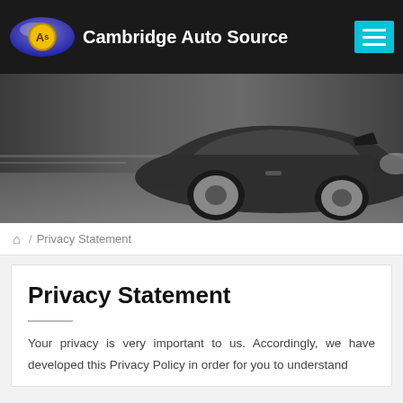Cambridge Auto Source
[Figure (photo): Dark/grey car side profile shot, motion blur background, highway setting]
🏠 / Privacy Statement
Privacy Statement
Your privacy is very important to us. Accordingly, we have developed this Privacy Policy in order for you to understand